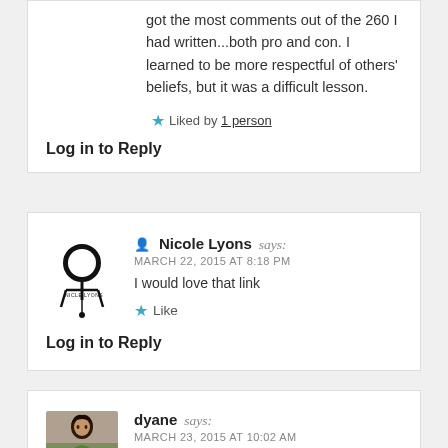got the most comments out of the 260 I had written...both pro and con. I learned to be more respectful of others' beliefs, but it was a difficult lesson.
Liked by 1 person
Log in to Reply
[Figure (illustration): Nicole Lyons avatar icon — stylized microscope or lamp illustration in black ink]
Nicole Lyons says: MARCH 22, 2015 AT 8:18 PM
I would love that link
Like
Log in to Reply
[Figure (photo): Photo of dyane — woman with dark hair outdoors]
dyane says: MARCH 23, 2015 AT 10:02 AM